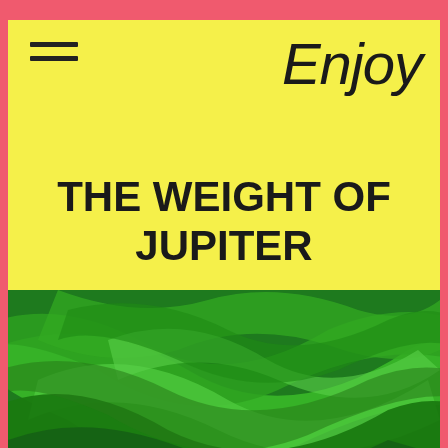Enjoy
THE WEIGHT OF JUPITER
[Figure (photo): Close-up photograph of green ribbon-like curved shapes, overlapping and intertwined, with varied shades of green.]